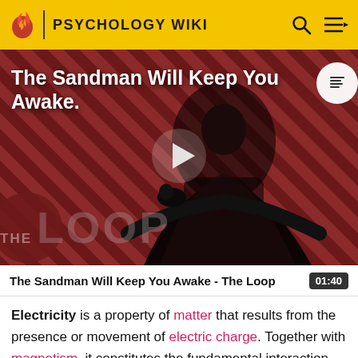PSYCHOLOGY WIKI
[Figure (screenshot): Video thumbnail for 'The Sandman Will Keep You Awake - The Loop' showing a dark figure in black against a red and black striped background, with a play button in the center and 'THE LOOP' text overlay at the bottom.]
The Sandman Will Keep You Awake - The Loop 01:40
Electricity is a property of matter that results from the presence or movement of electric charge. Together with magnetism, it constitutes the fundamental interaction